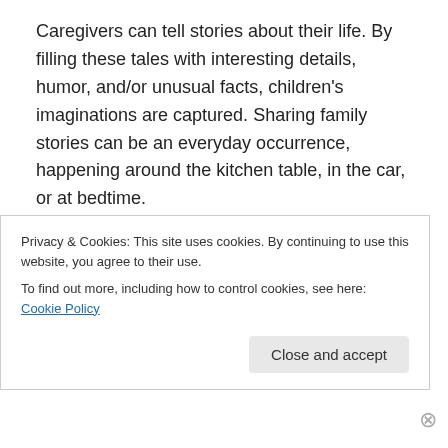Caregivers can tell stories about their life. By filling these tales with interesting details, humor, and/or unusual facts, children's imaginations are captured. Sharing family stories can be an everyday occurrence, happening around the kitchen table, in the car, or at bedtime.
FAMILY PHOTOS
Pictures make the past come alive. Children especially enjoy pictures showing how fashions and hairstyles have changed over the years.
FAMILY HISTORY GAMES
Privacy & Cookies: This site uses cookies. By continuing to use this website, you agree to their use.
To find out more, including how to control cookies, see here: Cookie Policy
Close and accept